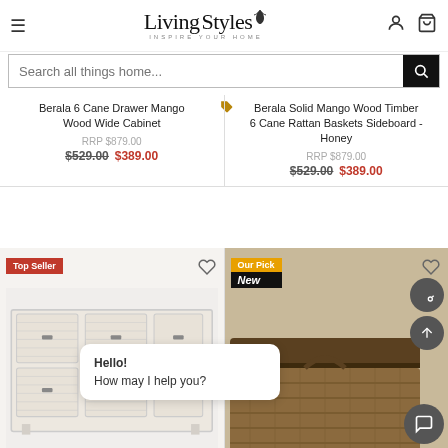LivingStyles — INSPIRE YOUR HOME
Search all things home...
Berala 6 Cane Drawer Mango Wood Wide Cabinet
RRP $879.00
$529.00  $389.00
Berala Solid Mango Wood Timber 6 Cane Rattan Baskets Sideboard - Honey
RRP $879.00
$529.00  $389.00
[Figure (screenshot): White wicker basket cabinet with 6 drawers, Top Seller badge in red]
[Figure (screenshot): Brown wicker storage box/chest, Our Pick and New badges]
Hello!
How may I help you?